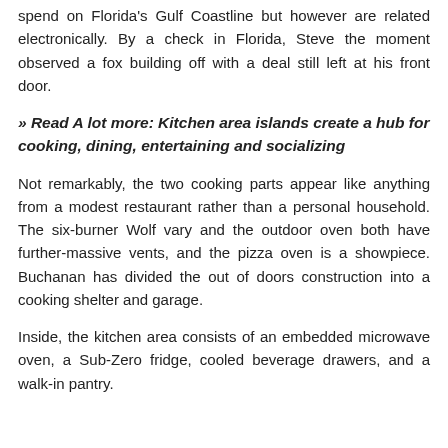spend on Florida's Gulf Coastline but however are related electronically. By a check in Florida, Steve the moment observed a fox building off with a deal still left at his front door.
» Read A lot more: Kitchen area islands create a hub for cooking, dining, entertaining and socializing
Not remarkably, the two cooking parts appear like anything from a modest restaurant rather than a personal household. The six-burner Wolf vary and the outdoor oven both have further-massive vents, and the pizza oven is a showpiece. Buchanan has divided the out of doors construction into a cooking shelter and garage.
Inside, the kitchen area consists of an embedded microwave oven, a Sub-Zero fridge, cooled beverage drawers, and a walk-in pantry.